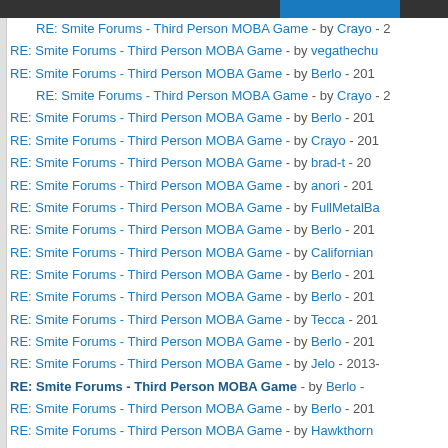navigation bar with highlight
RE: Smite Forums - Third Person MOBA Game - by Crayo - 2...
RE: Smite Forums - Third Person MOBA Game - by vegathecho...
RE: Smite Forums - Third Person MOBA Game - by Berlo - 201...
RE: Smite Forums - Third Person MOBA Game - by Crayo - 2... (indented)
RE: Smite Forums - Third Person MOBA Game - by Berlo - 201...
RE: Smite Forums - Third Person MOBA Game - by Crayo - 201...
RE: Smite Forums - Third Person MOBA Game - by brad-t - 20...
RE: Smite Forums - Third Person MOBA Game - by anori - 201...
RE: Smite Forums - Third Person MOBA Game - by FullMetalBa...
RE: Smite Forums - Third Person MOBA Game - by Berlo - 201...
RE: Smite Forums - Third Person MOBA Game - by Californian...
RE: Smite Forums - Third Person MOBA Game - by Berlo - 201...
RE: Smite Forums - Third Person MOBA Game - by Berlo - 201...
RE: Smite Forums - Third Person MOBA Game - by Tecca - 201...
RE: Smite Forums - Third Person MOBA Game - by Berlo - 201...
RE: Smite Forums - Third Person MOBA Game - by Jelo - 2013-...
RE: Smite Forums - Third Person MOBA Game - by Berlo - (bold/current)
RE: Smite Forums - Third Person MOBA Game - by Berlo - 201...
RE: Smite Forums - Third Person MOBA Game - by Hawkthorn...
RE: Smite Forums - Third Person MOBA Game - by Berlo - 201...
RE: Smite Forums - Third Person MOBA Game - by Berlo - 201...